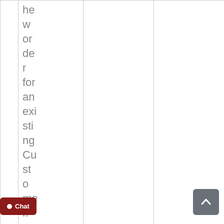|  | he w or de r for an exi sti ng Cu st o me r. |  |  |
| 9. | d |  |  |